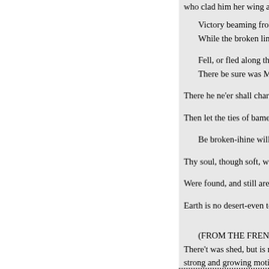who clad him her wing arrest
Victory beaming from her
While the broken linc enlarg

Fell, or fled along the plai
There be sure was Murat ch

There he ne'er shall charge again

Then let the ties of bamed love

Be broken-ihine will never bre

Thy soul, though soft, will never

Were found, and still are fixed, i

Earth is no desert-even to me.

(FROM THE FRENCH.) We c
There't was shed, but is not sunk
strong and growing motionIt soa
whose honour'd grave Contains t
return to whence it rose; When 't
shake the world with wonder Ne
Like the Wormwood star, foretol